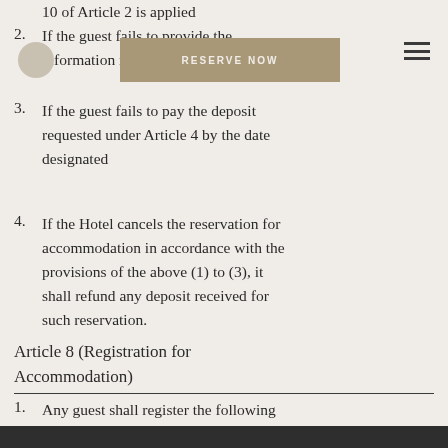10 of Article 2 is applied
2. If the guest fails to provide the information required under Article 3
3. If the guest fails to pay the deposit requested under Article 4 by the date designated
4. If the Hotel cancels the reservation for accommodation in accordance with the provisions of the above (1) to (3), it shall refund any deposit received for such reservation.
Article 8 (Registration for Accommodation)
1. Any guest shall register the following information with the Hotel on the day of